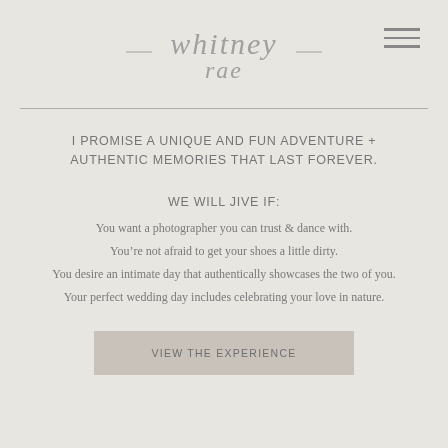[Figure (logo): Whitney Rae cursive script logo in gray]
I PROMISE A UNIQUE AND FUN ADVENTURE + AUTHENTIC MEMORIES THAT LAST FOREVER.
WE WILL JIVE IF:
You want a photographer you can trust & dance with.
You’re not afraid to get your shoes a little dirty.
You desire an intimate day that authentically showcases the two of you.
Your perfect wedding day includes celebrating your love in nature.
VIEW THE EXPERIENCE